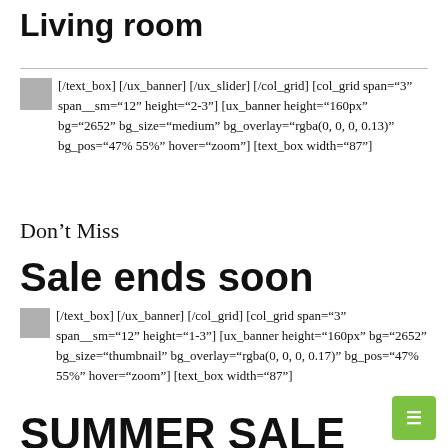Living room
[/text_box] [/ux_banner] [/ux_slider] [/col_grid] [col_grid span="3" span__sm="12" height="2-3"] [ux_banner height="160px" bg="2652" bg_size="medium" bg_overlay="rgba(0, 0, 0, 0.13)" bg_pos="47% 55%" hover="zoom"] [text_box width="87"]
Don't Miss
Sale ends soon
[/text_box] [/ux_banner] [/col_grid] [col_grid span="3" span__sm="12" height="1-3"] [ux_banner height="160px" bg="2652" bg_size="thumbnail" bg_overlay="rgba(0, 0, 0, 0.17)" bg_pos="47% 55%" hover="zoom"] [text_box width="87"]
SUMMER SALE